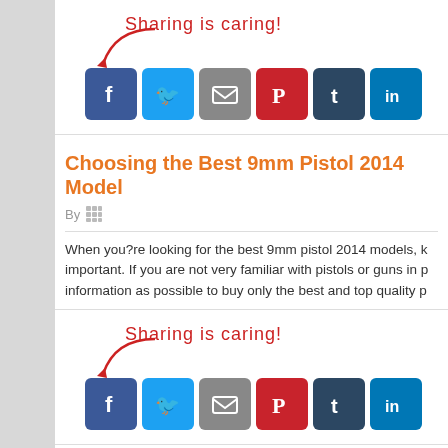[Figure (infographic): Sharing is caring social share buttons (Facebook, Twitter, Email, Pinterest, Tumblr, LinkedIn) with cursive red text and arrow]
Choosing the Best 9mm Pistol 2014 Model
By [author icon]
When you?re looking for the best 9mm pistol 2014 models, k... important. If you are not very familiar with pistols or guns in p... information as possible to buy only the best and top quality p...
[Figure (infographic): Sharing is caring social share buttons (Facebook, Twitter, Email, Pinterest, Tumblr, LinkedIn) with cursive red text and arrow]
Reading Honest 9mm Handgun Reviews
By [author icon]